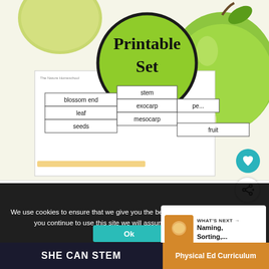[Figure (illustration): Educational printable worksheet featuring apple anatomy diagram with labeled parts including blossom end, stem, leaf, exocarp, seeds, mesocarp, fruit, and a 'Printable Set' green circular badge overlay. Green apples in background.]
We use cookies to ensure that we give you the best experience on our website. If you continue to use this site we will assume you are happy with it.
WHAT'S NEXT → Naming, Sorting,...
SHE CAN STEM
Physical Ed Curriculum